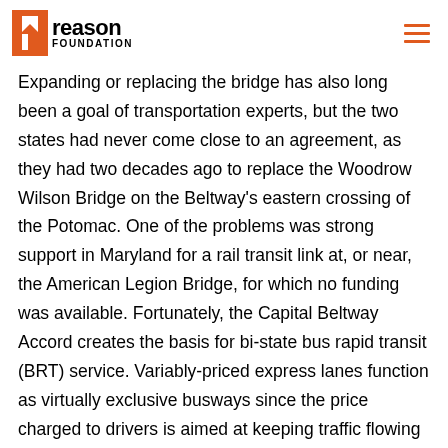Reason Foundation
Expanding or replacing the bridge has also long been a goal of transportation experts, but the two states had never come close to an agreement, as they had two decades ago to replace the Woodrow Wilson Bridge on the Beltway's eastern crossing of the Potomac. One of the problems was strong support in Maryland for a rail transit link at, or near, the American Legion Bridge, for which no funding was available. Fortunately, the Capital Beltway Accord creates the basis for bi-state bus rapid transit (BRT) service. Variably-priced express lanes function as virtually exclusive busways since the price charged to drivers is aimed at keeping traffic flowing at a reasonable speed even during